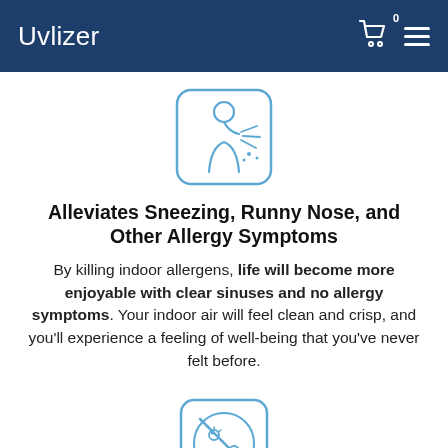Uvlizer
[Figure (illustration): Icon of a person sneezing with lines indicating spray, inside a rounded rectangle border, in light blue outline style]
Alleviates Sneezing, Runny Nose, and Other Allergy Symptoms
By killing indoor allergens, life will become more enjoyable with clear sinuses and no allergy symptoms. Your indoor air will feel clean and crisp, and you'll experience a feeling of well-being that you've never felt before.
[Figure (illustration): Icon of a circle with a diagonal prohibition line over bacteria/germ symbols, inside a rounded rectangle border, in light blue outline style]